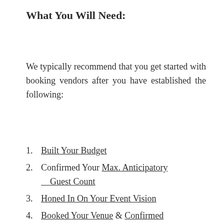What You Will Need:
We typically recommend that you get started with booking vendors after you have established the following:
Built Your Budget
Confirmed Your Max. Anticipatory Guest Count
Honed In On Your Event Vision
Booked Your Venue & Confirmed